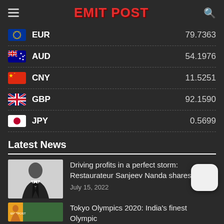EMIT POST
| Currency | Value |
| --- | --- |
| EUR | 79.7363 |
| AUD | 54.1976 |
| CNY | 11.5251 |
| GBP | 92.1590 |
| JPY | 0.5699 |
Latest News
Driving profits in a perfect storm: Restaurateur Sanjeev Nanda shares tips
July 15, 2022
Tokyo Olympics 2020: India's finest Olympic